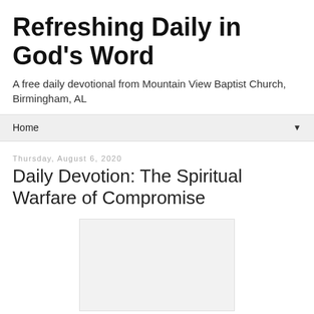Refreshing Daily in God's Word
A free daily devotional from Mountain View Baptist Church, Birmingham, AL
Home ▼
Thursday, August 6, 2020
Daily Devotion: The Spiritual Warfare of Compromise
[Figure (other): Blank placeholder image box]